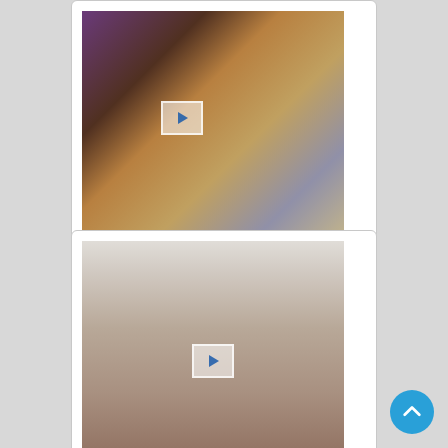[Figure (photo): Photo of woman named Anita in blue satin dress sitting on a satin-covered sofa, with bookshelf in background, watermark SATINSILKFUN.CO]
Anita
Satin Silk Fun
21st Aug 2015
[Figure (photo): Photo of a woman in pink/rose outfit sitting on a dark brown sofa in a light room]